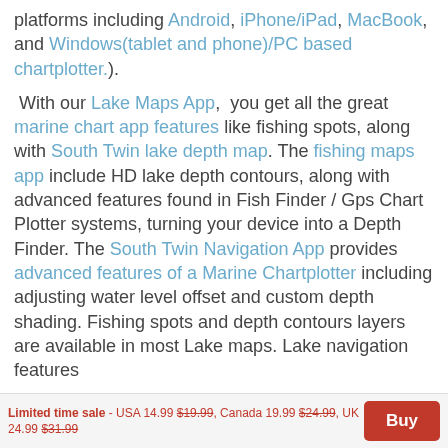platforms including Android, iPhone/iPad, MacBook, and Windows(tablet and phone)/PC based chartplotter.).
With our Lake Maps App, you get all the great marine chart app features like fishing spots, along with South Twin lake depth map. The fishing maps app include HD lake depth contours, along with advanced features found in Fish Finder / Gps Chart Plotter systems, turning your device into a Depth Finder. The South Twin Navigation App provides advanced features of a Marine Chartplotter including adjusting water level offset and custom depth shading. Fishing spots and depth contours layers are available in most Lake maps. Lake navigation features
Limited time sale - USA 14.99 $19.99, Canada 19.99 $24.99, UK 24.99 $31.99